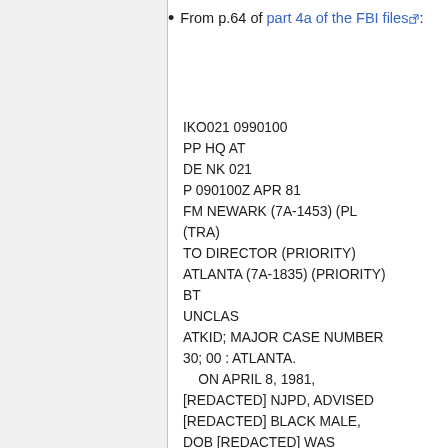From p.64 of part 4a of the FBI files:
IKO021 0990100
PP HQ AT
DE NK 021
P 090100Z APR 81
FM NEWARK (7A-1453) (PL
(TRA)
TO DIRECTOR (PRIORITY)
ATLANTA (7A-1835) (PRIORITY)
BT
UNCLAS
ATKID; MAJOR CASE NUMBER 30; 00 : ATLANTA.
    ON APRIL 8, 1981,
[REDACTED] NJPD, ADVISED [REDACTED] BLACK MALE,
DOB [REDACTED] WAS
DETAINED AND